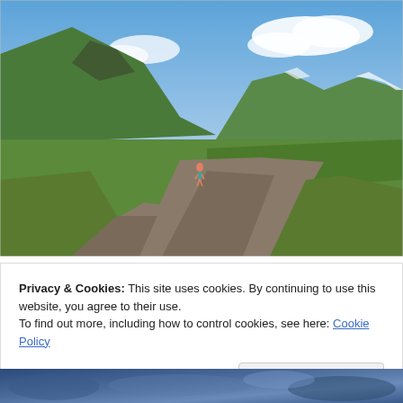[Figure (photo): A winding gravel road through a green mountain valley under a blue sky with clouds. A lone person is running along the road. Green grassy slopes and snow-capped peaks are visible in the background.]
Privacy & Cookies: This site uses cookies. By continuing to use this website, you agree to their use.
To find out more, including how to control cookies, see here: Cookie Policy
[Figure (photo): Partial view of a blue-tinted nature photo at the bottom of the page.]